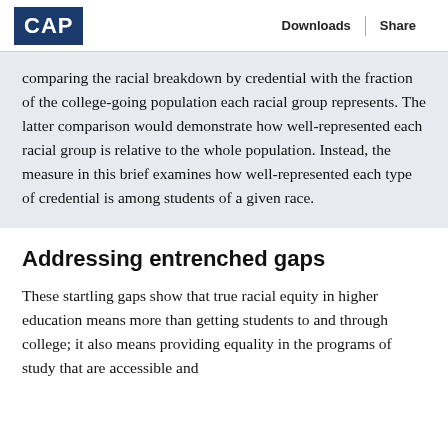CAP | Downloads | Share
comparing the racial breakdown by credential with the fraction of the college-going population each racial group represents. The latter comparison would demonstrate how well-represented each racial group is relative to the whole population. Instead, the measure in this brief examines how well-represented each type of credential is among students of a given race.
Addressing entrenched gaps
These startling gaps show that true racial equity in higher education means more than getting students to and through college; it also means providing equality in the programs of study that are accessible and